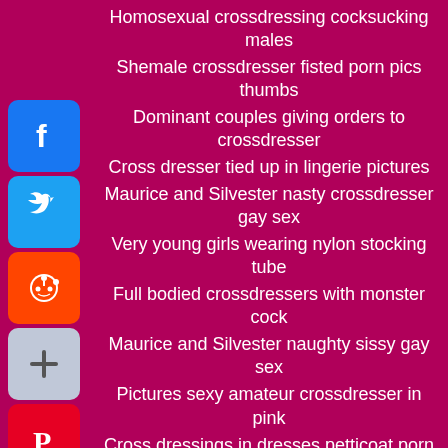Homosexual crossdressing cocksucking males
Shemale crossdresser fisted porn pics thumbs
Dominant couples giving orders to crossdresser
Cross dresser tied up in lingerie pictures
Maurice and Silvester nasty crossdresser gay sex
Very young girls wearing nylon stocking tube
Full bodied crossdressers with monster cock
Maurice and Silvester naughty sissy gay sex
Pictures sexy amateur crossdresser in pink
Cross dressings in dresses petticoat porn
Pictures of amature crossdressers having sex
Free cum oozing from crossdressers asshole
Dildo loving crossdressers wiggling their big dicks
Dominant women sissy man crossdresser porn
Gay men wearing sexy lingerie pictures porn